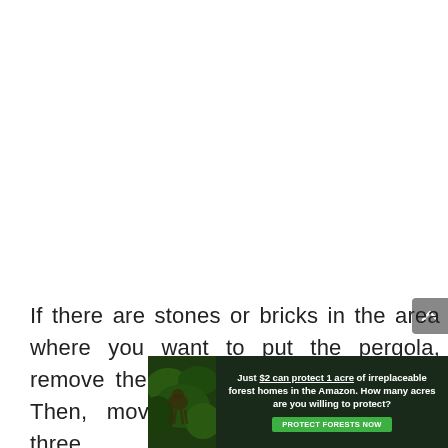If there are stones or bricks in the area where you want to put the pergola, remove them and set them aside later. Then, move on from there to step three.
[Figure (infographic): Advertisement banner: dark green background with forest/animal image on left. Text reads 'Just $2 can protect 1 acre of irreplaceable forest homes in the Amazon. How many acres are you willing to protect?' with a green 'PROTECT FORESTS NOW' button.]